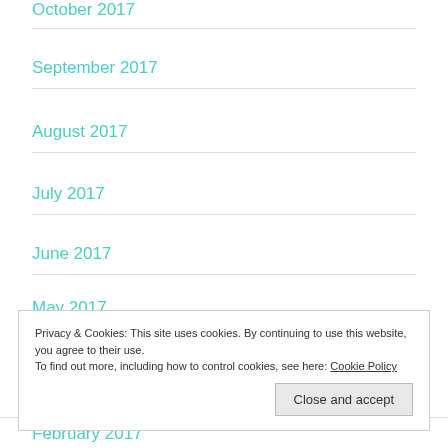October 2017
September 2017
August 2017
July 2017
June 2017
May 2017
Privacy & Cookies: This site uses cookies. By continuing to use this website, you agree to their use.
To find out more, including how to control cookies, see here: Cookie Policy
February 2017